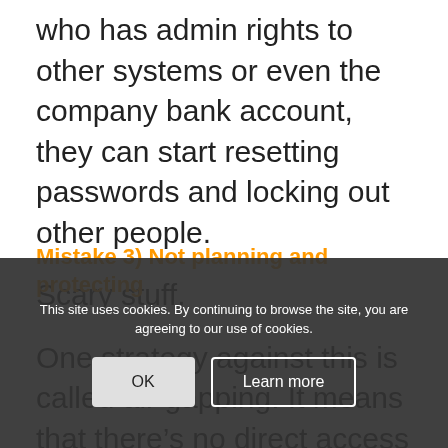who has admin rights to other systems or even the company bank account, they can start resetting passwords and locking out other people.
Scary stuff.
One strategy against this is called air gapping. It means that there's no direct access from one part of your network to another.
Mistake 3) Not planning and protecting
Businesses that work closely with their IT partner to plan and protect are less likely to be attacked in the first place.
This site uses cookies. By continuing to browse the site, you are agreeing to our use of cookies.